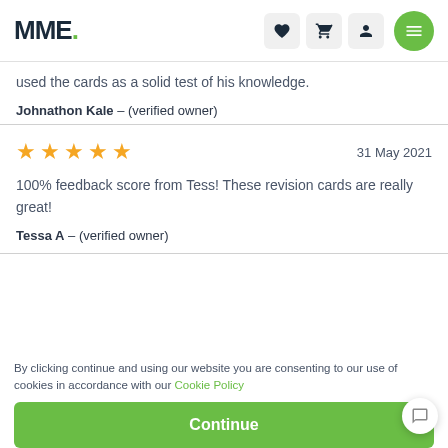MME.
used the cards as a solid test of his knowledge.
Johnathon Kale – (verified owner)
★★★★★  31 May 2021
100% feedback score from Tess! These revision cards are really great!
Tessa A – (verified owner)
By clicking continue and using our website you are consenting to our use of cookies in accordance with our Cookie Policy